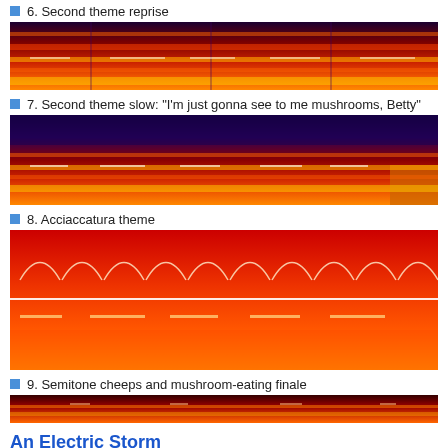6. Second theme reprise
[Figure (continuous-plot): Spectrogram of second theme reprise, showing red/orange horizontal frequency bands against dark background]
7. Second theme slow: "I'm just gonna see to me mushrooms, Betty"
[Figure (continuous-plot): Spectrogram of second theme slow passage, red/orange bands with purple/dark regions and bright yellow features on right]
8. Acciaccatura theme
[Figure (continuous-plot): Spectrogram of acciaccatura theme, showing repeating arched patterns in white/yellow against bright red background]
9. Semitone cheeps and mushroom-eating finale
[Figure (continuous-plot): Spectrogram of semitone cheeps and mushroom-eating finale, narrow red/orange band]
An Electric Storm